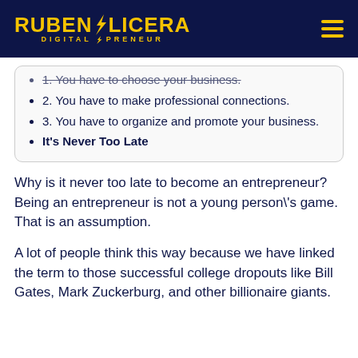RUBENOLICERA DIGITALPRENEUR
1. You have to choose your business.
2. You have to make professional connections.
3. You have to organize and promote your business.
It's Never Too Late
Why is it never too late to become an entrepreneur? Being an entrepreneur is not a young person\'s game. That is an assumption.
A lot of people think this way because we have linked the term to those successful college dropouts like Bill Gates, Mark Zuckerburg, and other billionaire giants.